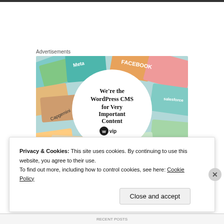Advertisements
[Figure (screenshot): WordPress VIP advertisement showing colorful brand cards (Meta, Facebook, Capgemini, Merck, Salesforce, etc.) arranged around a central white circle. Inside the circle: text 'We're the WordPress CMS for Very Important Content', WordPress VIP logo, and a 'Learn more →' button.]
Privacy & Cookies: This site uses cookies. By continuing to use this website, you agree to their use.
To find out more, including how to control cookies, see here: Cookie Policy
Close and accept